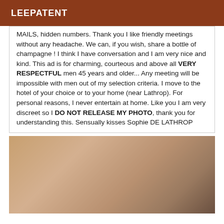LEEPATENT
MAILS, hidden numbers. Thank you I like friendly meetings without any headache. We can, if you wish, share a bottle of champagne ! I think I have conversation and I am very nice and kind. This ad is for charming, courteous and above all VERY RESPECTFUL men 45 years and older... Any meeting will be impossible with men out of my selection criteria. I move to the hotel of your choice or to your home (near Lathrop). For personal reasons, I never entertain at home. Like you I am very discreet so I DO NOT RELEASE MY PHOTO, thank you for understanding this. Sensually kisses Sophie DE LATHROP
[Figure (photo): Partial body photo, cropped torso/midsection image with skin tones against a light background]